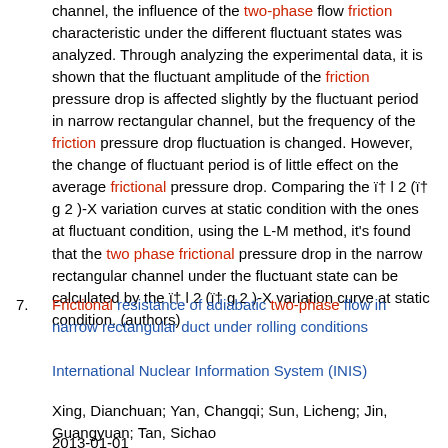channel, the influence of the two-phase flow friction characteristic under the different fluctuant states was analyzed. Through analyzing the experimental data, it is shown that the fluctuant amplitude of the friction pressure drop is affected slightly by the fluctuant period in narrow rectangular channel, but the frequency of the friction pressure drop fluctuation is changed. However, the change of fluctuant period is of little effect on the average frictional pressure drop. Comparing the ï† l 2 (ï† g 2 )-X variation curves at static condition with the ones at fluctuant condition, using the L-M method, it's found that the two phase frictional pressure drop in the narrow rectangular channel under the fluctuant state can be calculated by the ï† l 2 (ï† g 2 )-X variation curve at static condition. (authors)
7. Frictional resistance of adiabatic two-phase flow in narrow rectangular duct under rolling conditions
International Nuclear Information System (INIS)
Xing, Dianchuan; Yan, Changqi; Sun, Licheng; Jin, Guangyuan; Tan, Sichao
2013-01-01